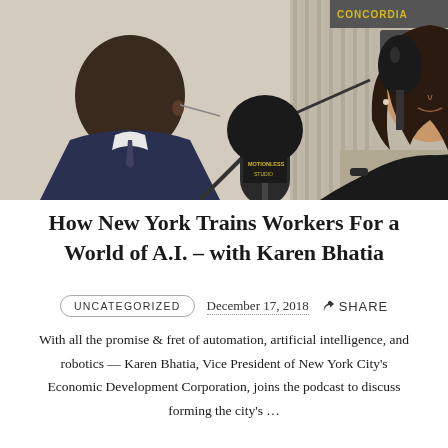[Figure (photo): Two people in a podcast/interview setting. A man in a suit with glasses seen from behind on the left, and a woman in a black top sitting across from him with a large microphone in the foreground. A 'CONCORDIA' sign is visible in the background.]
How New York Trains Workers For a World of A.I. – with Karen Bhatia
UNCATEGORIZED   December 17, 2018   SHARE
With all the promise & fret of automation, artificial intelligence, and robotics — Karen Bhatia, Vice President of New York City's Economic Development Corporation, joins the podcast to discuss forming the city's...